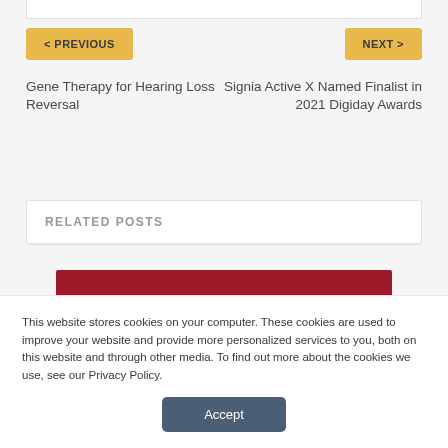< PREVIOUS
NEXT >
Gene Therapy for Hearing Loss Reversal
Signia Active X Named Finalist in 2021 Digiday Awards
RELATED POSTS
[Figure (photo): Red/dark crimson colored image banner for a related post]
This website stores cookies on your computer. These cookies are used to improve your website and provide more personalized services to you, both on this website and through other media. To find out more about the cookies we use, see our Privacy Policy.
Accept